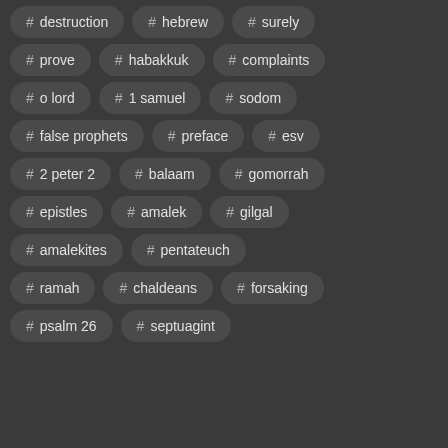# destruction
# hebrew
# surely
# prove
# habakkuk
# complaints
# o lord
# 1 samuel
# sodom
# false prophets
# preface
# esv
# 2 peter 2
# balaam
# gomorrah
# epistles
# amalek
# gilgal
# amalekites
# pentateuch
# ramah
# chaldeans
# forsaking
# psalm 26
# septuagint